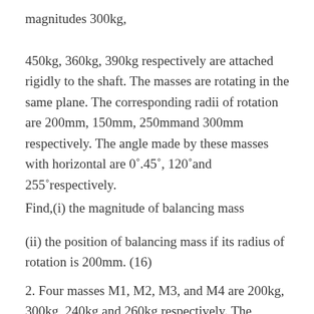magnitudes 300kg,
450kg, 360kg, 390kg respectively are attached rigidly to the shaft. The masses are rotating in the same plane. The corresponding radii of rotation are 200mm, 150mm, 250mmand 300mm respectively. The angle made by these masses with horizontal are 0˚.45˚, 120˚and 255˚respectively.
Find,(i) the magnitude of balancing mass
(ii) the position of balancing mass if its radius of rotation is 200mm. (16)
2. Four masses M1, M2, M3, and M4 are 200kg, 300kg, 240kg and 260kg respectively. The